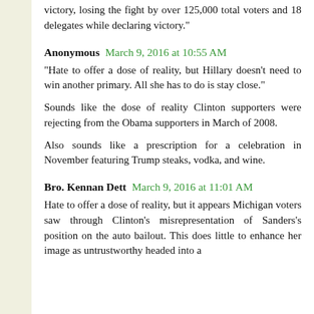victory, losing the fight by over 125,000 total voters and 18 delegates while declaring victory."
Anonymous  March 9, 2016 at 10:55 AM
"Hate to offer a dose of reality, but Hillary doesn't need to win another primary. All she has to do is stay close."
Sounds like the dose of reality Clinton supporters were rejecting from the Obama supporters in March of 2008.
Also sounds like a prescription for a celebration in November featuring Trump steaks, vodka, and wine.
Bro. Kennan Dett  March 9, 2016 at 11:01 AM
Hate to offer a dose of reality, but it appears Michigan voters saw through Clinton's misrepresentation of Sanders's position on the auto bailout. This does little to enhance her image as untrustworthy headed into a